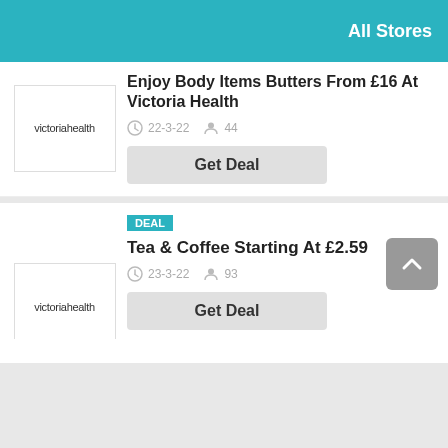All Stores
Enjoy Body Items Butters From £16 At Victoria Health
22-3-22  44
Get Deal
DEAL
Tea & Coffee Starting At £2.59
23-3-22  93
Get Deal